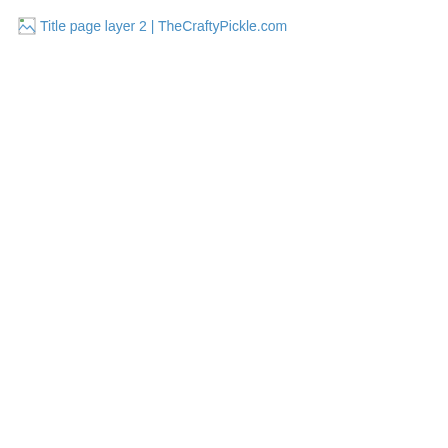[Figure (other): Broken image placeholder with alt text 'Title page layer 2 | TheCraftyPickle.com' shown as a small broken image icon followed by blue link-styled text]